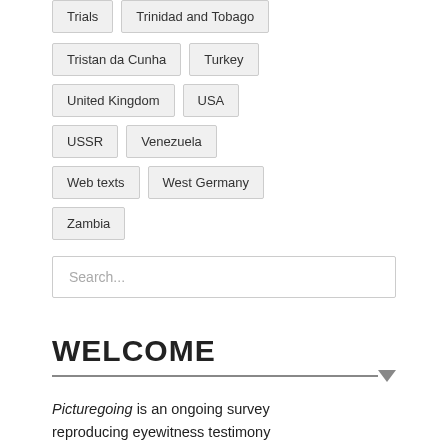Trials
Trinidad and Tobago
Tristan da Cunha
Turkey
United Kingdom
USA
USSR
Venezuela
Web texts
West Germany
Zambia
Search...
WELCOME
Picturegoing is an ongoing survey reproducing eyewitness testimony